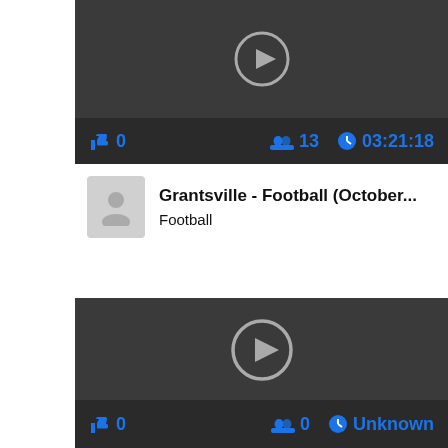[Figure (screenshot): Video thumbnail with dark background and play button icon, partially cropped at top]
👍 0   👥 13   🕐 03:21:18
Grantsville - Football (October...
Football
[Figure (screenshot): Second video thumbnail with dark background and play button icon]
👍 0   👥 0   🕐 Unknown